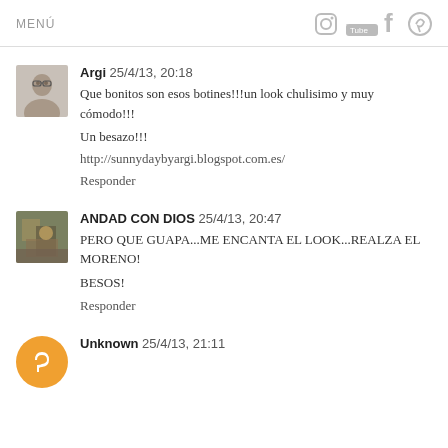MENÚ
Argi 25/4/13, 20:18
Que bonitos son esos botines!!!un look chulisimo y muy cómodo!!!

Un besazo!!!

http://sunnydaybyargi.blogspot.com.es/
Responder
ANDAD CON DIOS 25/4/13, 20:47
PERO QUE GUAPA...ME ENCANTA EL LOOK...REALZA EL MORENO!
BESOS!
Responder
Unknown 25/4/13, 21:11